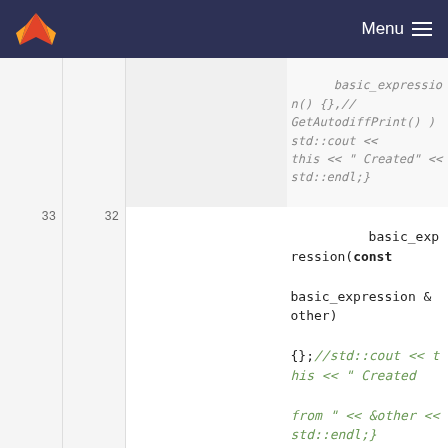GitLab navigation header with logo and Menu
[Figure (screenshot): Code diff view showing C++ class method declarations with line numbers, deleted lines (red background) and added lines (green background)]